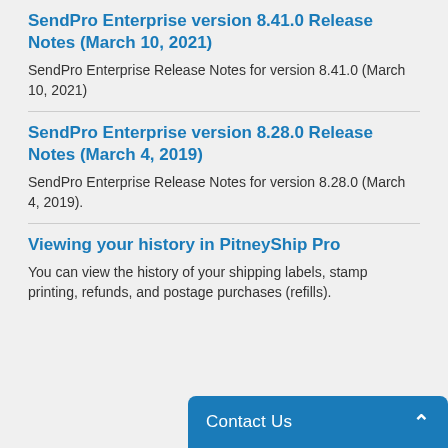SendPro Enterprise version 8.41.0 Release Notes (March 10, 2021)
SendPro Enterprise Release Notes for version 8.41.0 (March 10, 2021)
SendPro Enterprise version 8.28.0 Release Notes (March 4, 2019)
SendPro Enterprise Release Notes for version 8.28.0 (March 4, 2019).
Viewing your history in PitneyShip Pro
You can view the history of your shipping labels, stamp printing, refunds, and postage purchases (refills).
Contact Us